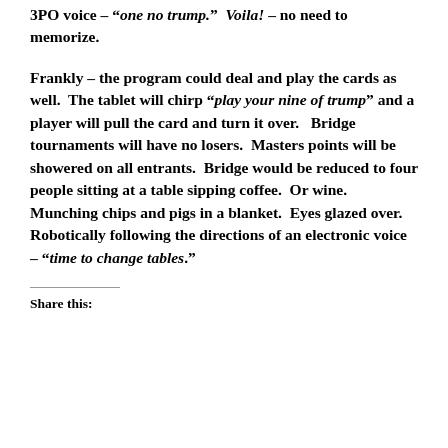3PO voice – "one no trump." Voila! – no need to memorize.
Frankly – the program could deal and play the cards as well.  The tablet will chirp "play your nine of trump" and a player will pull the card and turn it over.   Bridge tournaments will have no losers.  Masters points will be showered on all entrants.  Bridge would be reduced to four people sitting at a table sipping coffee.  Or wine.  Munching chips and pigs in a blanket.  Eyes glazed over.  Robotically following the directions of an electronic voice – "time to change tables."
Share this: